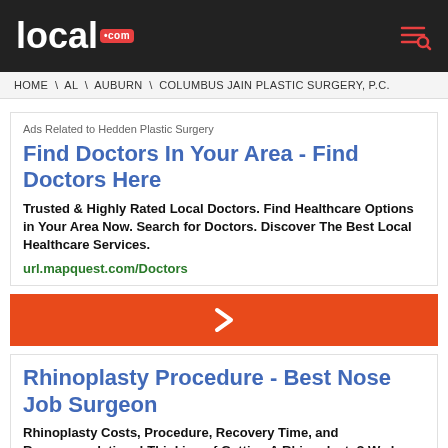local .com
HOME \ AL \ AUBURN \ COLUMBUS JAIN PLASTIC SURGERY, P.C.
Ads Related to Hedden Plastic Surgery
Find Doctors In Your Area - Find Doctors Here
Trusted & Highly Rated Local Doctors. Find Healthcare Options in Your Area Now. Search for Doctors. Discover The Best Local Healthcare Services.
url.mapquest.com/Doctors
[Figure (other): Orange button with right-arrow chevron]
Rhinoplasty Procedure - Best Nose Job Surgeon
Rhinoplasty Costs, Procedure, Recovery Time, and Recommendations! Thinking of Getting A Rhinoplasty? We have everything You Need To Know
www.alldayconsumers.com/Procedure/Rhinoplasty
All Day Consumers